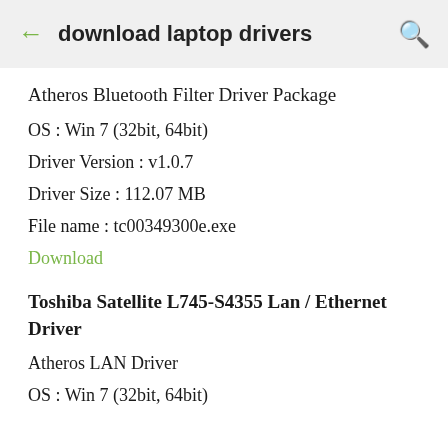download laptop drivers
Atheros Bluetooth Filter Driver Package
OS : Win 7 (32bit, 64bit)
Driver Version : v1.0.7
Driver Size : 112.07 MB
File name : tc00349300e.exe
Download
Toshiba Satellite L745-S4355 Lan / Ethernet Driver
Atheros LAN Driver
OS : Win 7 (32bit, 64bit)